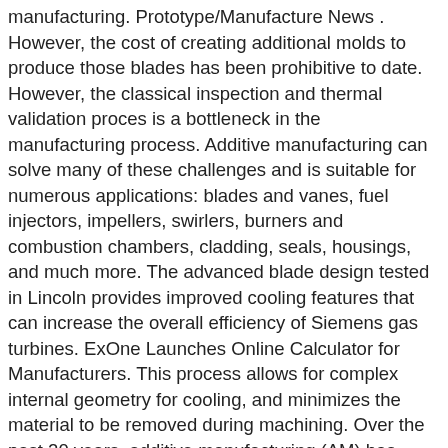manufacturing. Prototype/Manufacture News . However, the cost of creating additional molds to produce those blades has been prohibitive to date. However, the classical inspection and thermal validation proces is a bottleneck in the manufacturing process. Additive manufacturing can solve many of these challenges and is suitable for numerous applications: blades and vanes, fuel injectors, impellers, swirlers, burners and combustion chambers, cladding, seals, housings, and much more. The advanced blade design tested in Lincoln provides improved cooling features that can increase the overall efficiency of Siemens gas turbines. ExOne Launches Online Calculator for Manufacturers. This process allows for complex internal geometry for cooling, and minimizes the material to be removed during machining. Over the past 20 years, additive manufacturing (AM) has evolved from 3D printers used for rapid prototyping to sophisticated rapid manufacturing that can create parts directly without the use of tooling. Siemens has